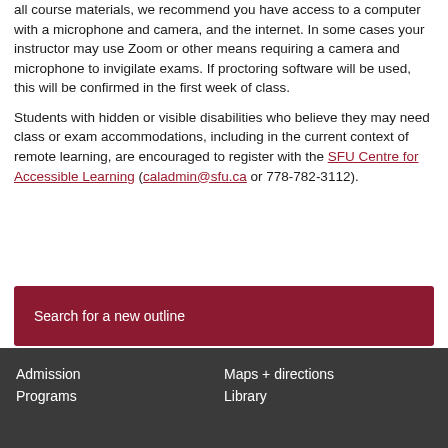all course materials, we recommend you have access to a computer with a microphone and camera, and the internet. In some cases your instructor may use Zoom or other means requiring a camera and microphone to invigilate exams. If proctoring software will be used, this will be confirmed in the first week of class.
Students with hidden or visible disabilities who believe they may need class or exam accommodations, including in the current context of remote learning, are encouraged to register with the SFU Centre for Accessible Learning (caladmin@sfu.ca or 778-782-3112).
Search for a new outline
Admission | Maps + directions | Programs | Library